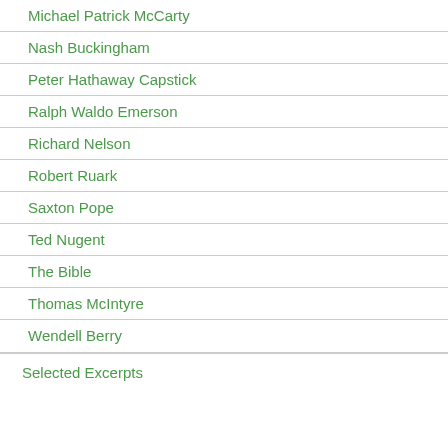Michael Patrick McCarty
Nash Buckingham
Peter Hathaway Capstick
Ralph Waldo Emerson
Richard Nelson
Robert Ruark
Saxton Pope
Ted Nugent
The Bible
Thomas McIntyre
Wendell Berry
Selected Excerpts